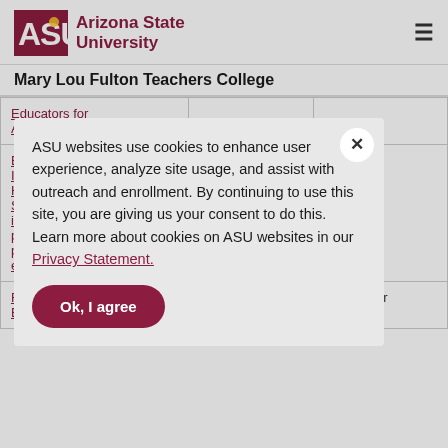ASU Arizona State University
Mary Lou Fulton Teachers College
|  |  |  |
| --- | --- | --- |
| Educators for Arizona |  |  |
| Ev... Int... Hig... Sc... int... pro... pre... ed... |  |  |
| Feedback as an Element of |  | September 01, 2013 |
ASU websites use cookies to enhance user experience, analyze site usage, and assist with outreach and enrollment. By continuing to use this site, you are giving us your consent to do this. Learn more about cookies on ASU websites in our Privacy Statement.